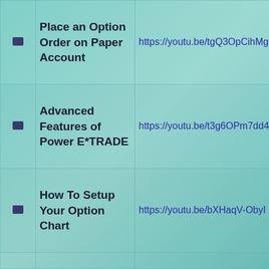|  | Topic | Link |
| --- | --- | --- |
| ■ | Place an Option Order on Paper Account | https://youtu.be/tgQ3OpCihMg |
| ■ | Advanced Features of Power E*TRADE | https://youtu.be/t3g6OPm7dd4 |
| ■ | How To Setup Your Option Chart | https://youtu.be/bXHaqV-ObyI |